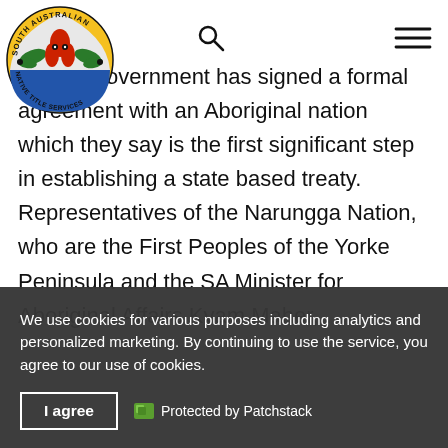[Figure (logo): South Australian Native Title Services circular logo with indigenous figure and text]
...alian Government has signed a formal agreement with an Aboriginal nation which they say is the first significant step in establishing a state based treaty. Representatives of the Narungga Nation, who are the First Peoples of the Yorke Peninsula and the SA Minister for Aboriginal Affairs Kyam Maher, …
We use cookies for various purposes including analytics and personalized marketing. By continuing to use the service, you agree to our use of cookies.
I agree   Protected by Patchstack